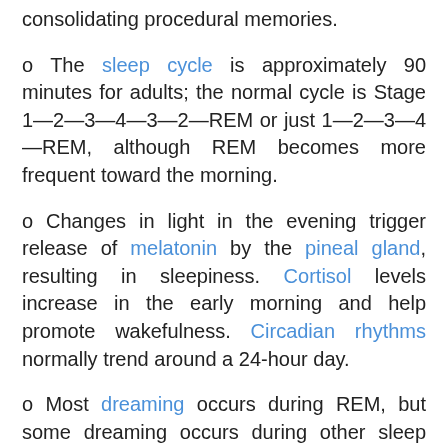consolidating procedural memories.
The sleep cycle is approximately 90 minutes for adults; the normal cycle is Stage 1—2—3—4—3—2—REM or just 1—2—3—4—REM, although REM becomes more frequent toward the morning.
Changes in light in the evening trigger release of melatonin by the pineal gland, resulting in sleepiness. Cortisol levels increase in the early morning and help promote wakefulness. Circadian rhythms normally trend around a 24-hour day.
Most dreaming occurs during REM, but some dreaming occurs during other sleep stages. There are many different models that attempt to account for the content